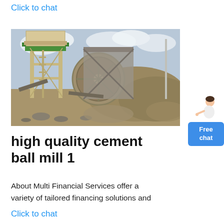Click to chat
[Figure (photo): Industrial machinery — cement ball mill equipment with steel scaffold structure, large circular disc, conveyor belts, and rocky terrain in the background under a cloudy sky.]
high quality cement ball mill 1
About Multi Financial Services offer a variety of tailored financing solutions and
Click to chat